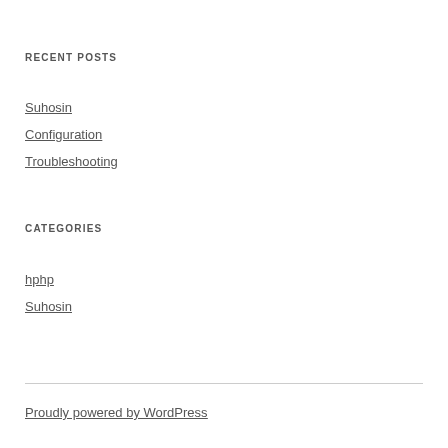RECENT POSTS
Suhosin
Configuration
Troubleshooting
CATEGORIES
hphp
Suhosin
Proudly powered by WordPress